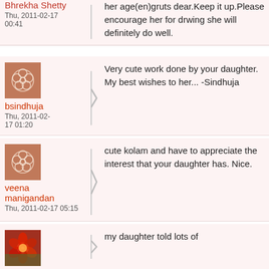her age(en)gruts dear.Keep it up.Please encourage her for drwing she will definitely do well.
Bhrekha Shetty
Thu, 2011-02-17 00:41
bsindhuja
Thu, 2011-02-17 01:20
Very cute work done by your daughter. My best wishes to her... -Sindhuja
veena manigandan
Thu, 2011-02-17 05:15
cute kolam and have to appreciate the interest that your daughter has. Nice.
my daughter told lots of